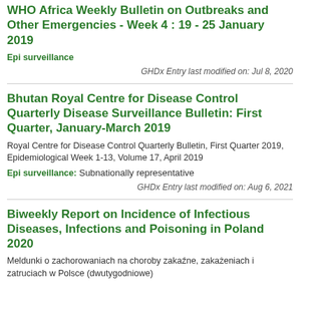WHO Africa Weekly Bulletin on Outbreaks and Other Emergencies - Week 4 : 19 - 25 January 2019
Epi surveillance
GHDx Entry last modified on: Jul 8, 2020
Bhutan Royal Centre for Disease Control Quarterly Disease Surveillance Bulletin: First Quarter, January-March 2019
Royal Centre for Disease Control Quarterly Bulletin, First Quarter 2019, Epidemiological Week 1-13, Volume 17, April 2019
Epi surveillance: Subnationally representative
GHDx Entry last modified on: Aug 6, 2021
Biweekly Report on Incidence of Infectious Diseases, Infections and Poisoning in Poland 2020
Meldunki o zachorowaniach na choroby zakaźne, zakażeniach i zatruciach w Polsce (dwutygodniowe)